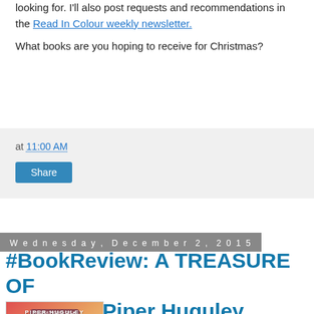looking for. I'll also post requests and recommendations in the Read In Colour weekly newsletter.
What books are you hoping to receive for Christmas?
at 11:00 AM
Share
Wednesday, December 2, 2015
#BookReview: A TREASURE OF GOLD by Piper Huguley
[Figure (photo): Book cover of A TREASURE OF GOLD by Piper Huguley, showing a woman with red/orange background and the title at the bottom]